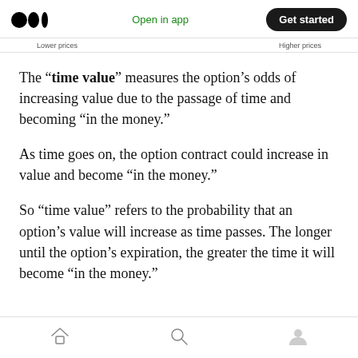Medium app header with logo, Open in app, Get started button
Lower prices    Higher prices
The “time value” measures the option’s odds of increasing value due to the passage of time and becoming “in the money.”
As time goes on, the option contract could increase in value and become “in the money.”
So “time value” refers to the probability that an option’s value will increase as time passes. The longer until the option’s expiration, the greater the time it will become “in the money.”
Bottom navigation bar with home, search, and profile icons